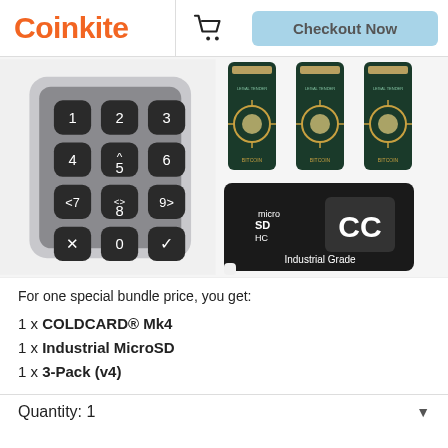Coinkite
[Figure (photo): Coinkite e-commerce product page showing COLDCARD Mk4 hardware wallet with numeric keypad, Opendime USB tokens, and Industrial Grade MicroSD card. Includes Coinkite logo, shopping cart icon, and Checkout Now button in header.]
For one special bundle price, you get:
1 x COLDCARD® Mk4
1 x Industrial MicroSD
1 x 3-Pack (v4)
Quantity: 1